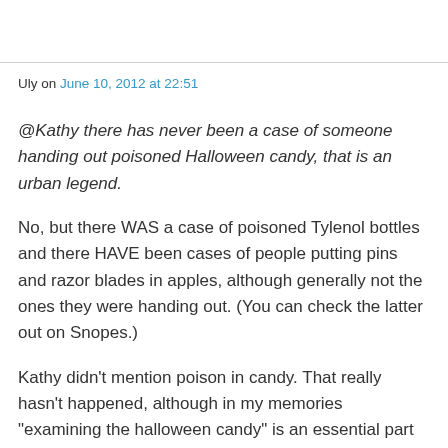Uly on June 10, 2012 at 22:51
@Kathy there has never been a case of someone handing out poisoned Halloween candy, that is an urban legend.
No, but there WAS a case of poisoned Tylenol bottles and there HAVE been cases of people putting pins and razor blades in apples, although generally not the ones they were handing out. (You can check the latter out on Snopes.)
Kathy didn’t mention poison in candy. That really hasn’t happened, although in my memories “examining the halloween candy” is an essential part of the holiday. Go figure.